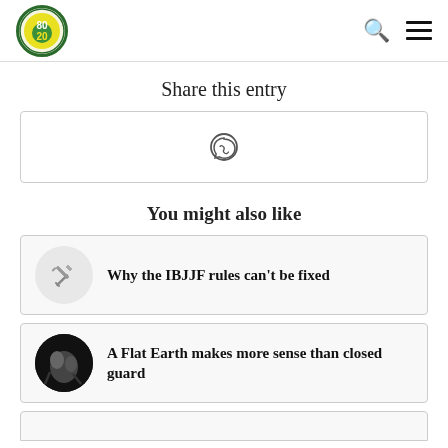8020 Jiu-Jitsu logo with search and menu icons
Share this entry
[Figure (other): WhatsApp share button icon in a bordered box]
You might also like
Why the IBJJF rules can't be fixed
A Flat Earth makes more sense than closed guard